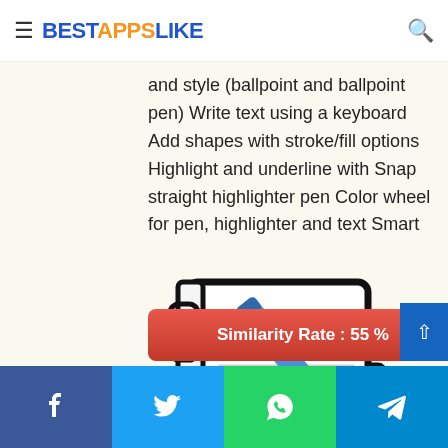BESTAPPSLIKE
and style (ballpoint and ballpoint pen) Write text using a keyboard Add shapes with stroke/fill options Highlight and underline with Snap straight highlighter pen Color wheel for pen, highlighter and text Smart
[Figure (illustration): Notebook with blue pen/stylus illustration — line art of a spiral-bound notebook with a blue pen/stylus resting diagonally across it]
Similarity Rate : 55 %
Facebook Twitter WhatsApp Telegram social share buttons